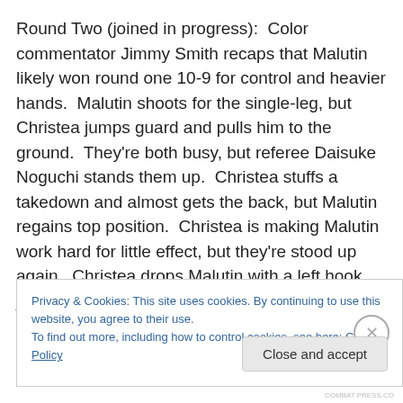Round Two (joined in progress):  Color commentator Jimmy Smith recaps that Malutin likely won round one 10-9 for control and heavier hands.  Malutin shoots for the single-leg, but Christea jumps guard and pulls him to the ground.  They're both busy, but referee Daisuke Noguchi stands them up.  Christea stuffs a takedown and almost gets the back, but Malutin regains top position.  Christea is making Malutin work hard for little effect, but they're stood up again.  Christea drops Malutin with a left hook just
Privacy & Cookies: This site uses cookies. By continuing to use this website, you agree to their use.
To find out more, including how to control cookies, see here: Cookie Policy
Close and accept